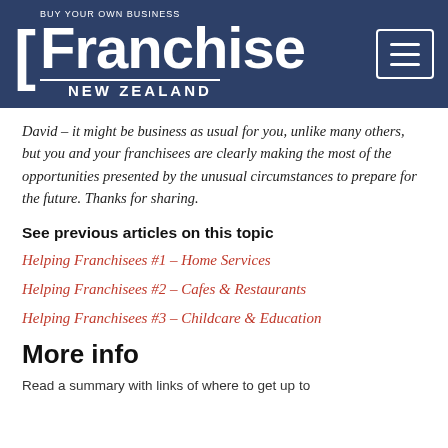[Figure (logo): Franchise New Zealand logo — white text on dark navy blue background with hamburger menu icon]
David – it might be business as usual for you, unlike many others, but you and your franchisees are clearly making the most of the opportunities presented by the unusual circumstances to prepare for the future. Thanks for sharing.
See previous articles on this topic
Helping Franchisees #1 – Home Services
Helping Franchisees #2 – Cafes & Restaurants
Helping Franchisees #3 – Childcare & Education
More info
Read a summary with links of where to get up to